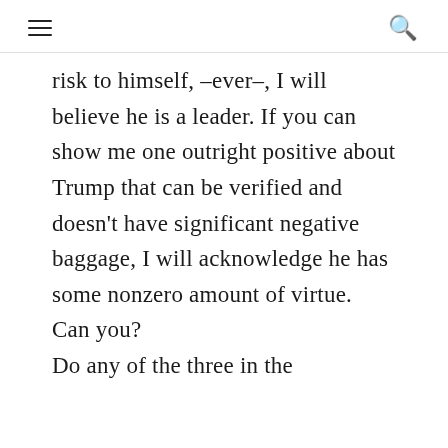≡  🔍
risk to himself, –ever–, I will believe he is a leader. If you can show me one outright positive about Trump that can be verified and doesn't have significant negative baggage, I will acknowledge he has some nonzero amount of virtue.
Can you?
Do any of the three in the